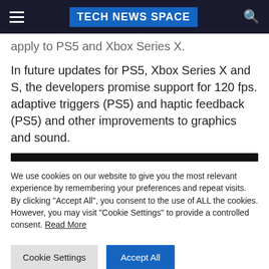TECH NEWS SPACE
apply to PS5 and Xbox Series X.
In future updates for PS5, Xbox Series X and S, the developers promise support for 120 fps. adaptive triggers (PS5) and haptic feedback (PS5) and other improvements to graphics and sound.
We use cookies on our website to give you the most relevant experience by remembering your preferences and repeat visits. By clicking "Accept All", you consent to the use of ALL the cookies. However, you may visit "Cookie Settings" to provide a controlled consent. Read More
Cookie Settings
Accept All